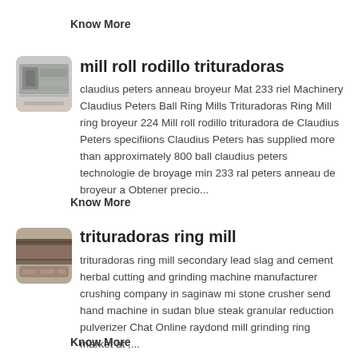Know More
[Figure (photo): Industrial mill roll machinery thumbnail image]
mill roll rodillo trituradoras
claudius peters anneau broyeur Mat 233 riel Machinery Claudius Peters Ball Ring Mills Trituradoras Ring Mill ring broyeur 224 Mill roll rodillo trituradora de Claudius Peters specifiions Claudius Peters has supplied more than approximately 800 ball claudius peters technologie de broyage min 233 ral peters anneau de broyeur a Obtener precio...
Know More
[Figure (photo): Industrial trituradoras ring mill machinery thumbnail image]
trituradoras ring mill
trituradoras ring mill secondary lead slag and cement herbal cutting and grinding machine manufacturer crushing company in saginaw mi stone crusher send hand machine in sudan blue steak granular reduction pulverizer Chat Online raydond mill grinding ring market at ,...
Know More